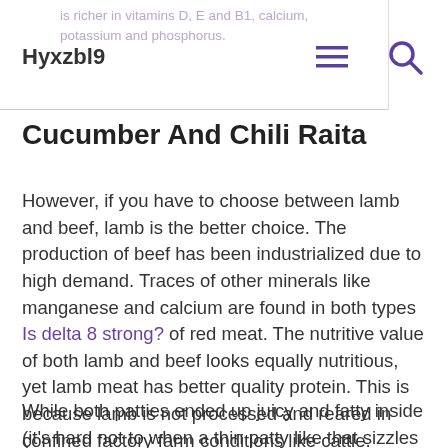Hyxzbl9 | is richer in vitamins D, E and B1, calcium, potassium and phosphorus.
Cucumber And Chili Raita
However, if you have to choose between lamb and beef, lamb is the better choice. The production of beef has been industrialized due to high demand. Traces of other minerals like manganese and calcium are found in both types Is delta 8 strong? of red meat. The nutritive value of both lamb and beef looks equally nutritious, yet lamb meat has better quality protein. This is because lamb is not processed and reared in confined factory farm conditions like cattle.
While both patties ended up juicy and fatty inside (it's hard not to when a thin patty like that sizzles in its own rendered fat), the finely